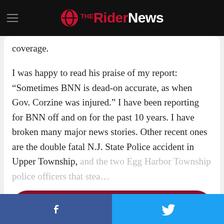The Rider News
coverage.
I was happy to read his praise of my report: “Sometimes BNN is dead-on accurate, as when Gov. Corzine was injured.” I have been reporting for BNN off and on for the past 10 years. I have broken many major news stories. Other recent ones are the double fatal N.J. State Police accident in Upper Township, and the two Egg Harbor Township police officers that stea…
Show More ∨